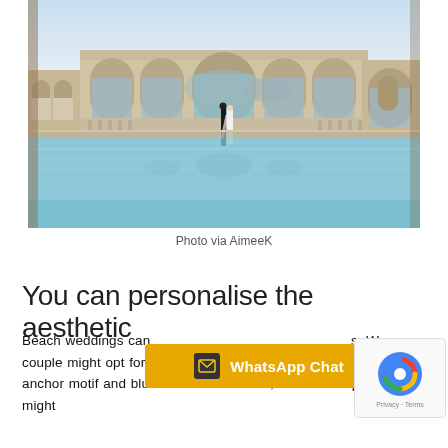[Figure (photo): Wedding couple standing by a large reflective pool in front of a grand stone colonnade with arched openings overlooking the sea. Warm golden light, classical Mediterranean venue.]
Photo via AimeeK
You can personalise the aesthetic
Beach weddings can [WhatsApp Chat overlay] s. W couple might for he anchor motif and blue and white colours, another couple might